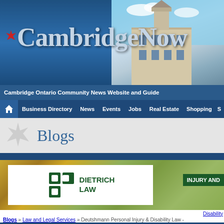[Figure (screenshot): CambridgeNow website header with logo text and building photo]
Cambridge Ontario Community News Website and Guide
Business Directory | News | Events | Jobs | Real Estate | Shopping | S
Blogs
[Figure (photo): Dietrich Law advertisement banner with logo and Injury And text]
Disability
Blogs » Law and Legal Services » Deutshmann Personal Injury & Disability Law - PERSONAL INJURY & DISABILITY LAW
Deutshmann Personal Injury & Disability Law - PERSONAL LAW « View Articles For April 2012